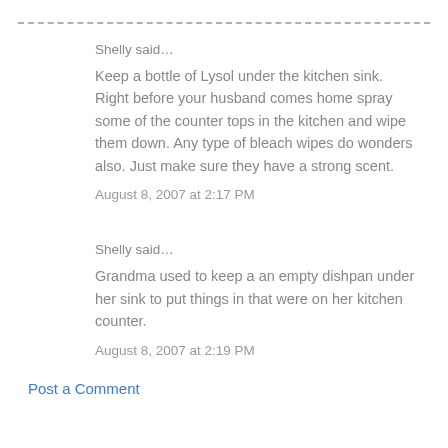Shelly said…
Keep a bottle of Lysol under the kitchen sink. Right before your husband comes home spray some of the counter tops in the kitchen and wipe them down. Any type of bleach wipes do wonders also. Just make sure they have a strong scent.
August 8, 2007 at 2:17 PM
Shelly said…
Grandma used to keep a an empty dishpan under her sink to put things in that were on her kitchen counter.
August 8, 2007 at 2:19 PM
Post a Comment